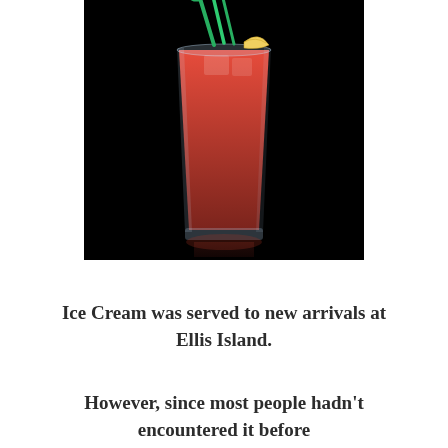[Figure (photo): A Bloody Mary cocktail in a tall clear glass with red tomato juice, garnished with celery stalks and a lemon/lime wedge, on a black background with a slight reflection below the glass.]
Ice Cream was served to new arrivals at Ellis Island.
However, since most people hadn't encountered it before